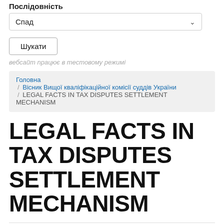Послідовність
Спад
Шукати
вебсайт працює в тестовому режимі
Головна / Вісник Вищої кваліфікаційної комісії суддів України / LEGAL FACTS IN TAX DISPUTES SETTLEMENT MECHANISM
LEGAL FACTS IN TAX DISPUTES SETTLEMENT MECHANISM